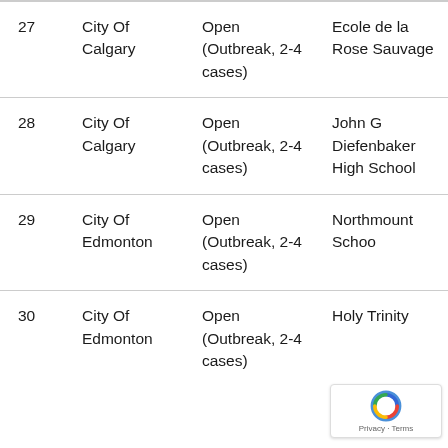|  | Location | Status | Facility |
| --- | --- | --- | --- |
| 27 | City Of Calgary | Open (Outbreak, 2-4 cases) | Ecole de la Rose Sauvage |
| 28 | City Of Calgary | Open (Outbreak, 2-4 cases) | John G Diefenbaker High School |
| 29 | City Of Edmonton | Open (Outbreak, 2-4 cases) | Northmount School |
| 30 | City Of Edmonton | Open (Outbreak, 2-4 cases) | Holy Trinity |